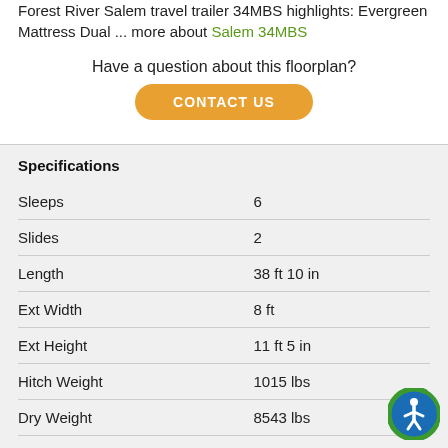Forest River Salem travel trailer 34MBS highlights: Evergreen Mattress Dual ... more about Salem 34MBS
Have a question about this floorplan?
CONTACT US
Specifications
| Specification | Value |
| --- | --- |
| Sleeps | 6 |
| Slides | 2 |
| Length | 38 ft 10 in |
| Ext Width | 8 ft |
| Ext Height | 11 ft 5 in |
| Hitch Weight | 1015 lbs |
| Dry Weight | 8543 lbs |
| Cargo Weight | 2672 lbs |